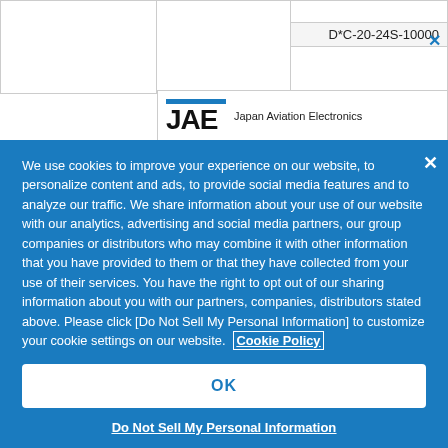D*C-20-24S-10000
[Figure (logo): JAE Japan Aviation Electronics logo with blue bar above letters]
We use cookies to improve your experience on our website, to personalize content and ads, to provide social media features and to analyze our traffic. We share information about your use of our website with our analytics, advertising and social media partners, our group companies or distributors who may combine it with other information that you have provided to them or that they have collected from your use of their services. You have the right to opt out of our sharing information about you with our partners, companies, distributors stated above. Please click [Do Not Sell My Personal Information] to customize your cookie settings on our website. Cookie Policy
OK
Do Not Sell My Personal Information